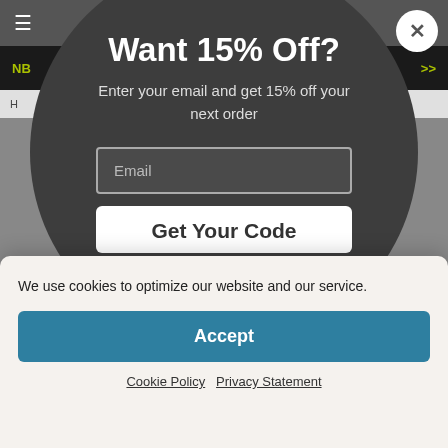[Figure (screenshot): Website popup modal with dark circular background showing a 15% off discount offer. Contains title 'Want 15% Off?', subtitle text, email input field, and 'Get Your Code' button. Background shows navigation bar and breadcrumb.]
Want 15% Off?
Enter your email and get 15% off your next order
Email
Get Your Code
We use cookies to optimize our website and our service.
Accept
Cookie Policy   Privacy Statement